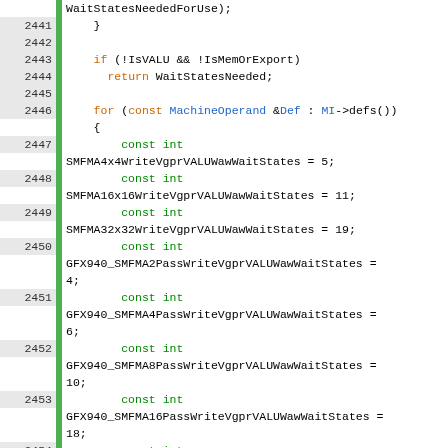[Figure (screenshot): Source code viewer showing C++ code lines 2441-2457 with line numbers, green diff gutters, and syntax highlighting. Variables named SMFMA and GFX940 wait state constants are being defined.]